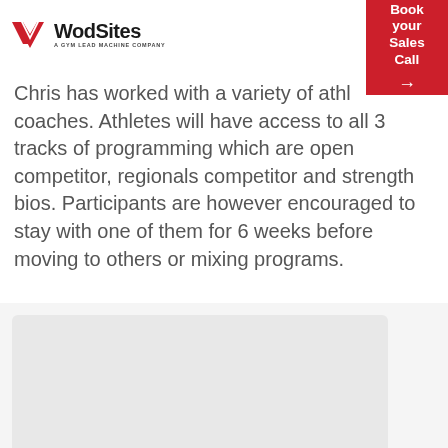[Figure (logo): WodSites logo with red chevron W icon and text 'WodSites - A Gym Lead Machine Company']
Chris has worked with a variety of athletes and coaches. Athletes will have access to all 3 tracks of programming which are open competitor, regionals competitor and strength bios. Participants are however encouraged to stay with one of them for 6 weeks before moving to others or mixing programs.
[Figure (photo): Partially visible image placeholder, light gray background]